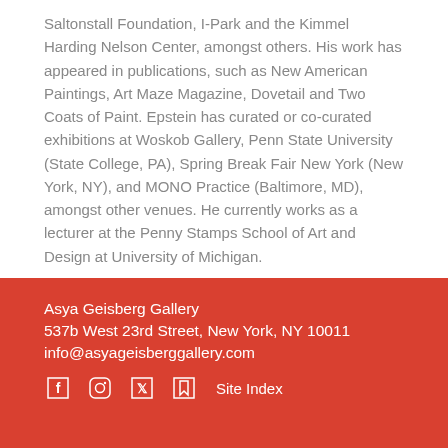Saltonstall Foundation, I-Park and the Kimmel Harding Nelson Center, amongst others. His work has appeared in publications, such as New American Paintings, Art Maze Magazine, Dovetail and Two Coats of Paint. Epstein has curated or co-curated exhibitions at Woskob Gallery, Penn State University (State College, PA), Spring Break Fair New York (New York, NY), and MONO Practice (Baltimore, MD), amongst other venues. He currently works as a lecturer at the Penny Stamps School of Art and Design at University of Michigan.
DOWNLOAD PDF
Asya Geisberg Gallery
537b West 23rd Street, New York, NY 10011
info@asyageisberggallery.com
Site Index